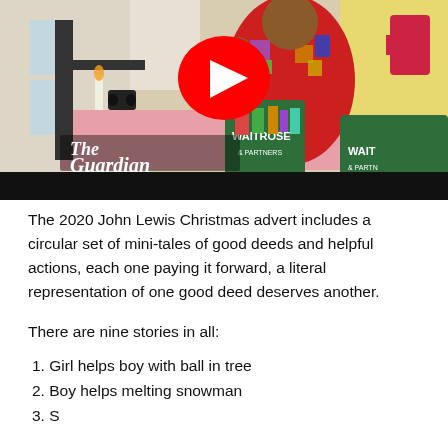[Figure (screenshot): YouTube video thumbnail showing The Guardian logo overlaid on a colorful illustrated scene with a character holding Waitrose & Partners shopping bags, with a YouTube play button in the center.]
The 2020 John Lewis Christmas advert includes a circular set of mini-tales of good deeds and helpful actions, each one paying it forward, a literal representation of one good deed deserves another.
There are nine stories in all:
1. Girl helps boy with ball in tree
2. Boy helps melting snowman
3. (partially visible)